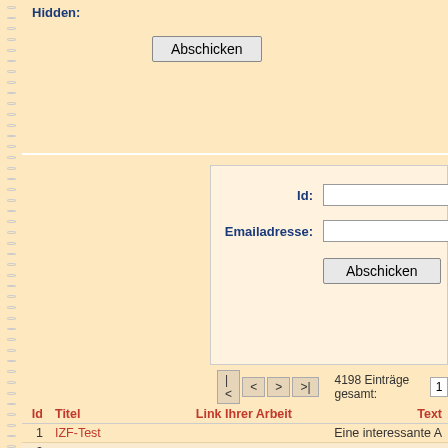Hidden:
Abschicken
Id:
Emailadresse:
Abschicken
|<  <  >  >|   4198 Einträge gesamt:   1
| Id | Titel | Link Ihrer Arbeit | Text |
| --- | --- | --- | --- |
| 1 | IZF-Test |  | Eine interessante A |
| 2 | ... |  |  |
| 3 | Ausschwitz |  |  |
| 4 | ... |  |  |
| 5 | WEG Verwaltung |  |  |
| 6 | ... |  |  |
| 7 | ... |  |  |
| 8 | ... | http://cialis7dosage.com/ | Hello! |
| 9 | ... | http://viagra7dosage.com/ | Hello! |